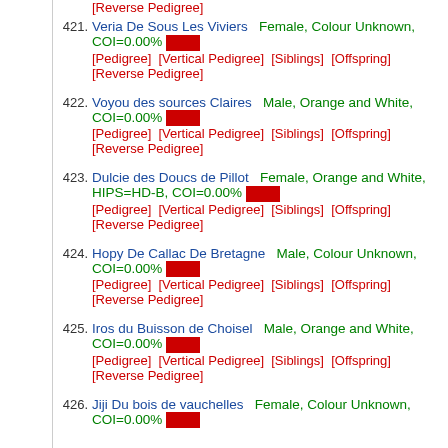[Reverse Pedigree]
421. Veria De Sous Les Viviers Female, Colour Unknown, COI=0.00% [Pedigree] [Vertical Pedigree] [Siblings] [Offspring] [Reverse Pedigree]
422. Voyou des sources Claires Male, Orange and White, COI=0.00% [Pedigree] [Vertical Pedigree] [Siblings] [Offspring] [Reverse Pedigree]
423. Dulcie des Doucs de Pillot Female, Orange and White, HIPS=HD-B, COI=0.00% [Pedigree] [Vertical Pedigree] [Siblings] [Offspring] [Reverse Pedigree]
424. Hopy De Callac De Bretagne Male, Colour Unknown, COI=0.00% [Pedigree] [Vertical Pedigree] [Siblings] [Offspring] [Reverse Pedigree]
425. Iros du Buisson de Choisel Male, Orange and White, COI=0.00% [Pedigree] [Vertical Pedigree] [Siblings] [Offspring] [Reverse Pedigree]
426. Jiji Du bois de vauchelles Female, Colour Unknown, COI=0.00%